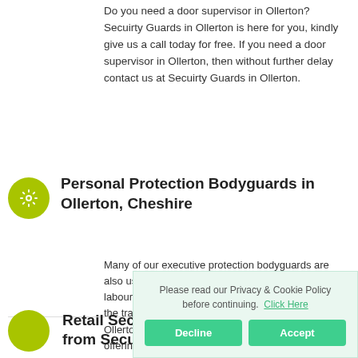Do you need a door supervisor in Ollerton? Secuirty Guards in Ollerton is here for you, kindly give us a call today for free. If you need a door supervisor in Ollerton, then without further delay contact us at Secuirty Guards in Ollerton.
Personal Protection Bodyguards in Ollerton, Cheshire
Many of our executive protection bodyguards are also useful during hostile termination situations, labour disputes, special events, planned travel, and the transport of valuable assets. Secuirty Guards in Ollerton is a Ollerton based security company offering services such as video surveillance, vehicle patrolling and bodyguards.
Please read our Privacy & Cookie Policy before continuing.  Click Here
Retail Security Officers from Secuirty